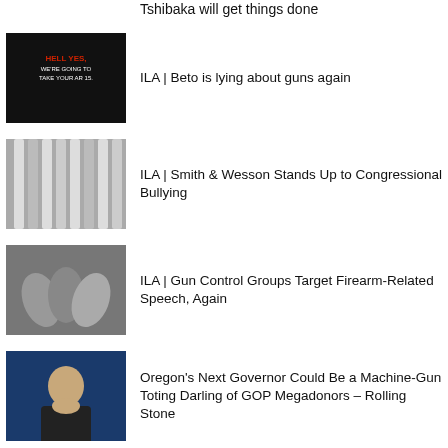Tshibaka will get things done
ILA | Beto is lying about guns again
ILA | Smith & Wesson Stands Up to Congressional Bullying
ILA | Gun Control Groups Target Firearm-Related Speech, Again
Oregon's Next Governor Could Be a Machine-Gun Toting Darling of GOP Megadonors – Rolling Stone
Beto O'Rourke's campaign for governor is taking him deep into rural Texas